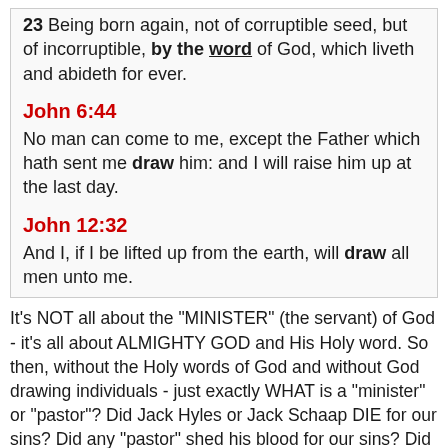23 Being born again, not of corruptible seed, but of incorruptible, by the word of God, which liveth and abideth for ever.
John 6:44
No man can come to me, except the Father which hath sent me draw him: and I will raise him up at the last day.
John 12:32
And I, if I be lifted up from the earth, will draw all men unto me.
It's NOT all about the "MINISTER" (the servant) of God - it's all about ALMIGHTY GOD and His Holy word. So then, without the Holy words of God and without God drawing individuals - just exactly WHAT is a "minister" or "pastor"? Did Jack Hyles or Jack Schaap DIE for our sins? Did any "pastor" shed his blood for our sins? Did any of these men cause the Holy Scriptures to be written? Have any of these men PRESERVED God's Holy words all down through the centuries? I trow not! Then WHY do modern day "Christians" ELEVATE these men as if they were a part of the Godhead? WHY do "Christians" today EXTOL THE VIRTUES of all of these "good" and "godly" men - instead